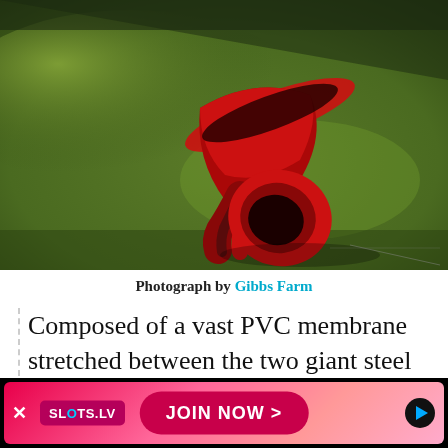[Figure (photo): Aerial photograph of a large red sculptural artwork composed of two giant steel ellipses connected by a twisted PVC membrane, placed on a green grassy hillside at Gibbs Farm. The sculpture is red/dark red in color and appears architectural yet organic.]
Photograph by Gibbs Farm
Composed of a vast PVC membrane stretched between the two giant steel ellipses, Kapoor's work is architectural, and yet it also has a fleshy quality which
[Figure (other): Advertisement banner for SLOTS.LV casino with pink/red gradient background, SLOTS.LV logo on left, JOIN NOW > button in red pill shape in center, and navigation arrows on right. X close button on far left.]